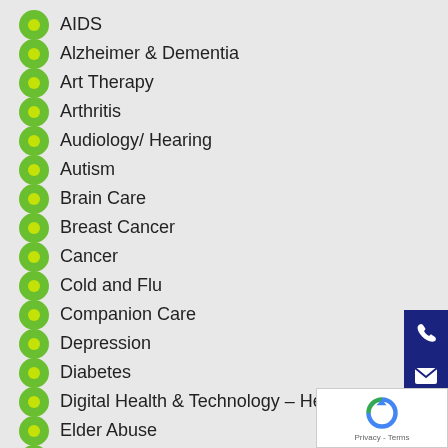AIDS
Alzheimer & Dementia
Art Therapy
Arthritis
Audiology/ Hearing
Autism
Brain Care
Breast Cancer
Cancer
Cold and Flu
Companion Care
Depression
Diabetes
Digital Health & Technology – Health Espresso
Elder Abuse
Elderly Care/ Healthy Safe Ageing in Place